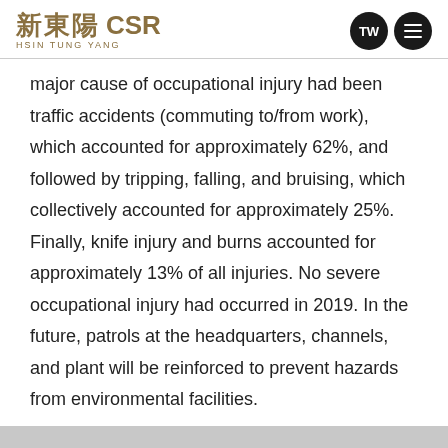新東陽 CSR HSIN TUNG YANG | TW Menu
major cause of occupational injury had been traffic accidents (commuting to/from work), which accounted for approximately 62%, and followed by tripping, falling, and bruising, which collectively accounted for approximately 25%. Finally, knife injury and burns accounted for approximately 13% of all injuries. No severe occupational injury had occurred in 2019. In the future, patrols at the headquarters, channels, and plant will be reinforced to prevent hazards from environmental facilities.
Statistics on Occupational Hazards over the Past Three Years